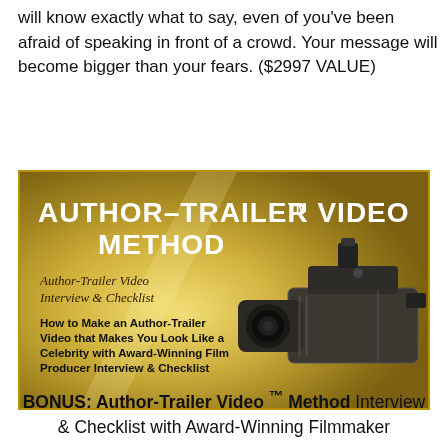will know exactly what to say, even of you've been afraid of speaking in front of a crowd. Your message will become bigger than your fears. ($2997 VALUE)
[Figure (illustration): Author-Trailer Video™ Method promotional image on a golden background. Shows a professional video camera on the right side. Text reads: AUTHOR-TRAILER VIDEO™ METHOD, Author-Trailer Video Interview & Checklist (in cursive), How to Make an Author-Trailer Video that Makes You Look Like a Celebrity with Award-Winning Film Producer Interview & Checklist.]
BONUS: Author-Trailer Video™ Method Interview & Checklist with Award-Winning Filmmaker